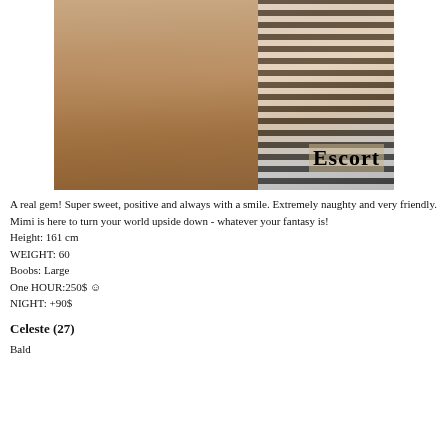[Figure (photo): Photo of a woman in high heels crouching, with 'Escort' text overlay in the lower right of the image.]
A real gem! Super sweet, positive and always with a smile. Extremely naughty and very friendly. Mimi is here to turn your world upside down - whatever your fantasy is!
Height: 161 cm
WEIGHT: 60
Boobs: Large
One HOUR:250$ ☺
NIGHT: +90$
Celeste (27)
Bald